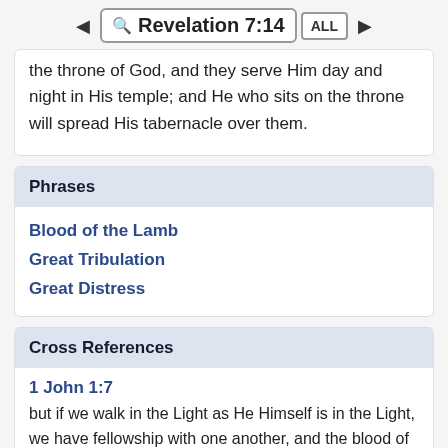Revelation 7:14
the throne of God, and they serve Him day and night in His temple; and He who sits on the throne will spread His tabernacle over them.
Phrases
Blood of the Lamb
Great Tribulation
Great Distress
Cross References
1 John 1:7
but if we walk in the Light as He Himself is in the Light, we have fellowship with one another, and the blood of Jesus His Son cleanses us from all sin.